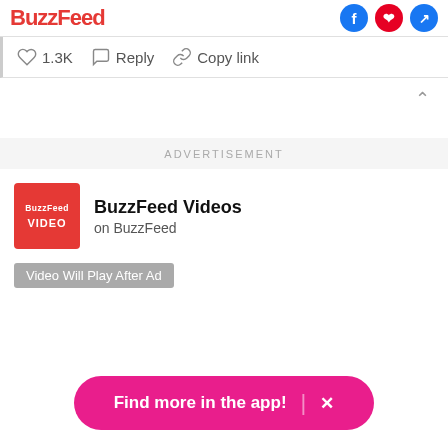BuzzFeed
♡ 1.3K   Reply   Copy link
ADVERTISEMENT
BuzzFeed Videos on BuzzFeed
Video Will Play After Ad
Find more in the app! ×